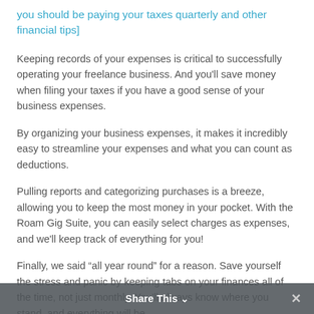you should be paying your taxes quarterly and other financial tips]
Keeping records of your expenses is critical to successfully operating your freelance business. And you'll save money when filing your taxes if you have a good sense of your business expenses.
By organizing your business expenses, it makes it incredibly easy to streamline your expenses and what you can count as deductions.
Pulling reports and categorizing purchases is a breeze, allowing you to keep the most money in your pocket. With the Roam Gig Suite, you can easily select charges as expenses, and we'll keep track of everything for you!
Finally, we said “all year round” for a reason. Save yourself the stress and panic by keeping tabs on your finances all of the time, not just monthly. You’ll always know where you stand, and everything will be
Share This